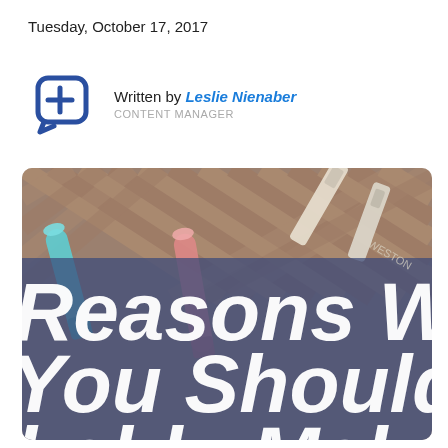Tuesday, October 17, 2017
Written by Leslie Nienaber
CONTENT MANAGER
[Figure (photo): A photo of pregnancy test sticks and markers on a wooden surface with large white bold text overlay reading 'Reasons Wh You Should bably Make']